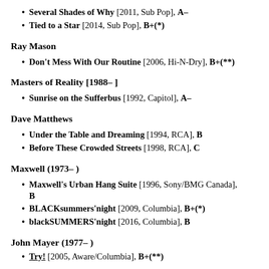Several Shades of Why [2011, Sub Pop], A–
Tied to a Star [2014, Sub Pop], B+(*)
Ray Mason
Don't Mess With Our Routine [2006, Hi-N-Dry], B+(**)
Masters of Reality [1988– ]
Sunrise on the Sufferbus [1992, Capitol], A–
Dave Matthews
Under the Table and Dreaming [1994, RCA], B
Before These Crowded Streets [1998, RCA], C
Maxwell (1973– )
Maxwell's Urban Hang Suite [1996, Sony/BMG Canada], B
BLACKsummers'night [2009, Columbia], B+(*)
blackSUMMERS'night [2016, Columbia], B
John Mayer (1977– )
Try! [2005, Aware/Columbia], B+(**)